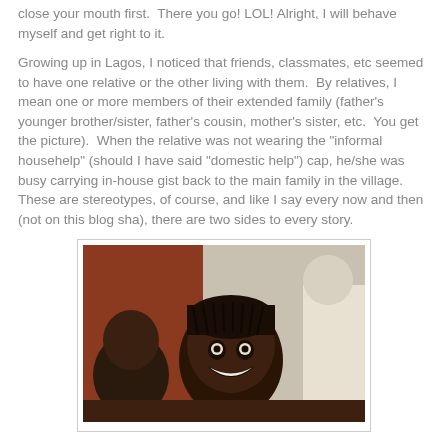close your mouth first.  There you go! LOL! Alright, I will behave myself and get right to it.
Growing up in Lagos, I noticed that friends, classmates, etc seemed to have one relative or the other living with them.  By relatives, I mean one or more members of their extended family (father's younger brother/sister, father's cousin, mother's sister, etc.  You get the picture).  When the relative was not wearing the "informal househelp" (should I have said "domestic help") cap, he/she was busy carrying in-house gist back to the main family in the village.  These are stereotypes, of course, and like I say every now and then (not on this blog sha), there are two sides to every story.
[Figure (photo): A smiling young African girl with braided hair in a knit headband, with another child partially visible to the left and a person in white to the right]